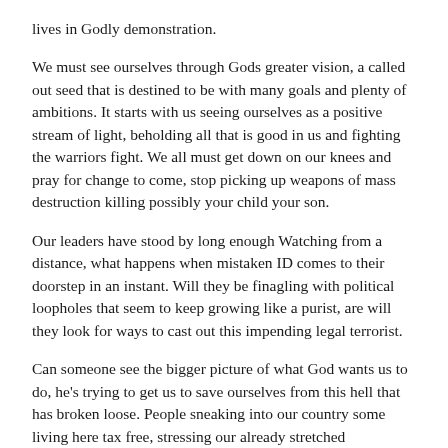lives in Godly demonstration.
We must see ourselves through Gods greater vision, a called out seed that is destined to be with many goals and plenty of ambitions. It starts with us seeing ourselves as a positive stream of light, beholding all that is good in us and fighting the warriors fight. We all must get down on our knees and pray for change to come, stop picking up weapons of mass destruction killing possibly your child your son.
Our leaders have stood by long enough Watching from a distance, what happens when mistaken ID comes to their doorstep in an instant. Will they be finagling with political loopholes that seem to keep growing like a purist, are will they look for ways to cast out this impending legal terrorist.
Can someone see the bigger picture of what God wants us to do, he's trying to get us to save ourselves from this hell that has broken loose. People sneaking into our country some living here tax free, stressing our already stretched